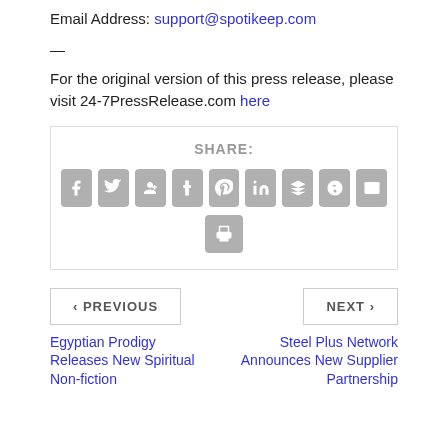Email Address: support@spotikeep.com
—
For the original version of this press release, please visit 24-7PressRelease.com here
[Figure (infographic): SHARE section with social media icon buttons: Facebook, Twitter, Google+, Tumblr, Pinterest, LinkedIn, Buffer, StumbleUpon, Email, and Print]
< PREVIOUS
Egyptian Prodigy Releases New Spiritual Non-fiction
NEXT >
Steel Plus Network Announces New Supplier Partnership